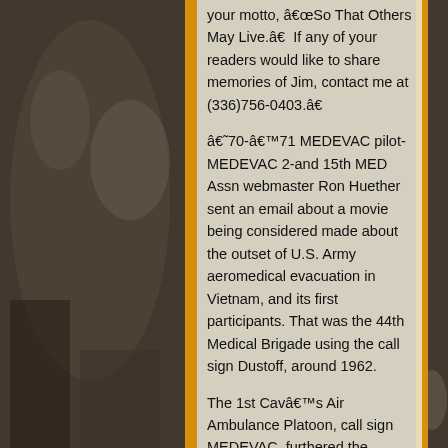[Figure (photo): Black and white photograph background showing military personnel outdoors, with yellow/gold vertical bars on either side of main text column]
your motto, “So That Others May Live.”  If any of your readers would like to share memories of Jim, contact me at (336)756-0403.”

‘70-’71 MEDEVAC pilot-MEDEVAC 2-and 15th MED Assn webmaster Ron Huether sent an email about a movie being considered made about the outset of U.S. Army aeromedical evacuation in Vietnam, and its first participants. That was the 44th Medical Brigade using the call sign Dustoff, around 1962.

The 1st Cav’s Air Ambulance Platoon, call sign MEDEVAC, furthered the concept when the airmobile division